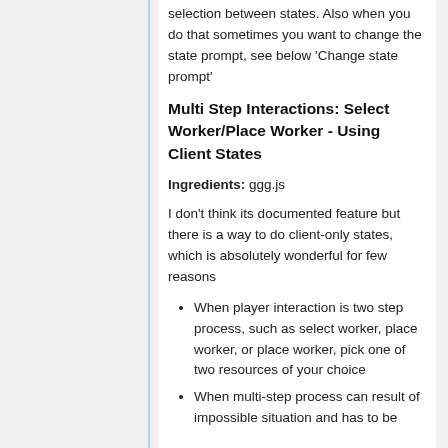selection between states. Also when you do that sometimes you want to change the state prompt, see below 'Change state prompt'
Multi Step Interactions: Select Worker/Place Worker - Using Client States
Ingredients: ggg.js
I don't think its documented feature but there is a way to do client-only states, which is absolutely wonderful for few reasons
When player interaction is two step process, such as select worker, place worker, or place worker, pick one of two resources of your choice
When multi-step process can result of impossible situation and has to be